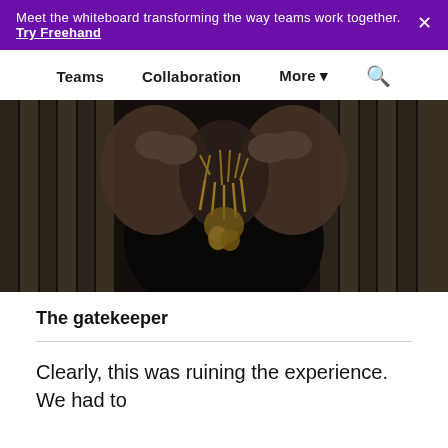Meet the whiteboard transforming the way teams work together. Try Freehand ×
Teams   Collaboration   More ▾   🔍
[Figure (photo): Dark photograph of an elderly person's hands holding a decorative bone or twig necklace, wearing a black garment, with vertical wooden slats in the background.]
The gatekeeper
Clearly, this was ruining the experience. We had to